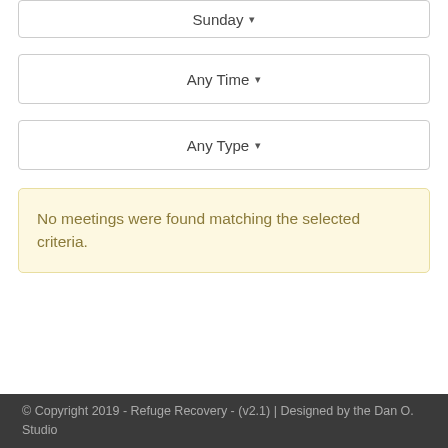Sunday ▾
Any Time ▾
Any Type ▾
No meetings were found matching the selected criteria.
© Copyright 2019 - Refuge Recovery - (v2.1) | Designed by the Dan O. Studio